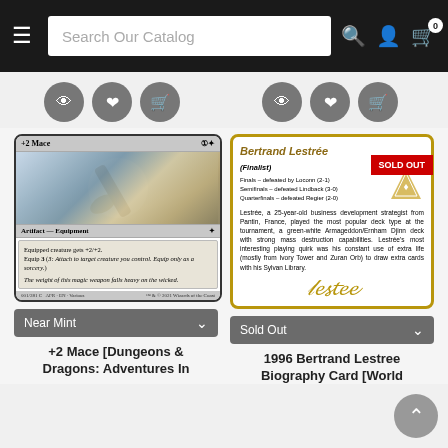Search Our Catalog
[Figure (screenshot): Two trading card product listings on an e-commerce catalog page. Left: +2 Mace Magic card (Near Mint). Right: 1996 Bertrand Lestree Biography Card (Sold Out).]
+2 Mace
Artifact — Equipment
Equipped creature gets +2/+2. Equip 3 (3: Attach to target creature you control. Equip only as a sorcery.) The weight of this magic weapon falls heavy on the wicked.
Bertrand Lestrée
SOLD OUT
(Finalist) Finals – defeated by Loconn (2-1) Semifinals – defeated Lindback (3-0) Quarterfinals – defeated Regier (2-0)
Lestrée, a 25-year-old business development strategist from Pantin, France, played the most popular deck type at the tournament, a green-white Armageddon/Ernham Djinn deck with strong mass destruction capabilities. Lestrée's most interesting playing quirk was his constant use of extra life (mostly from Ivory Tower and Zuran Orb) to draw extra cards with his Sylvan Library.
Near Mint
Sold Out
+2 Mace [Dungeons & Dragons: Adventures In
1996 Bertrand Lestree Biography Card [World